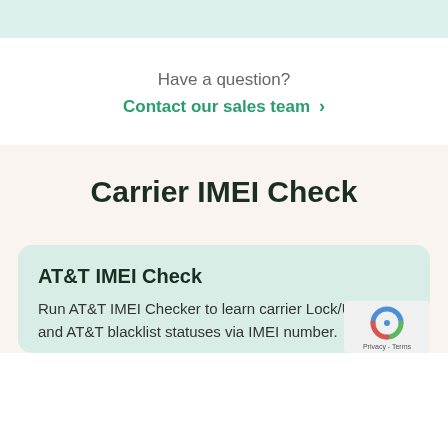[Figure (screenshot): Light teal/green top bar area]
Have a question?
Contact our sales team >
Carrier IMEI Check
AT&T IMEI Check
Run AT&T IMEI Checker to learn carrier Lock/Unlock and AT&T blacklist statuses via IMEI number.